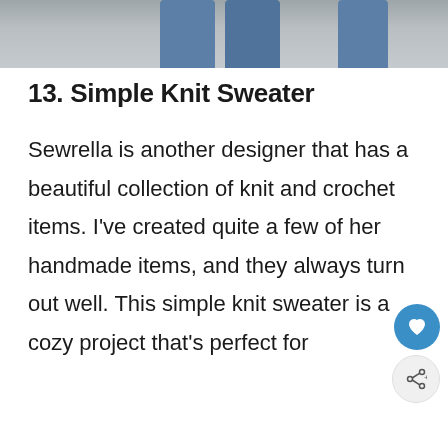[Figure (photo): Bottom portion of a photo showing a person wearing distressed blue jeans against a grey concrete wall background]
13. Simple Knit Sweater
Sewrella is another designer that has a beautiful collection of knit and crochet items. I've created quite a few of her handmade items, and they always turn out well. This simple knit sweater is a cozy project that's perfect for